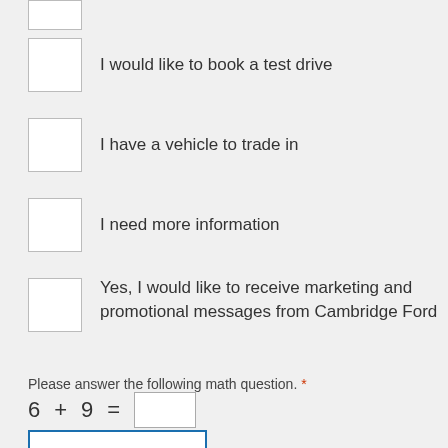I would like to book a test drive
I have a vehicle to trade in
I need more information
Yes, I would like to receive marketing and promotional messages from Cambridge Ford
Please answer the following math question. *
SUBMIT
f [4.5 star rating] YouTube Instagram LinkedIn | FIND | CALL